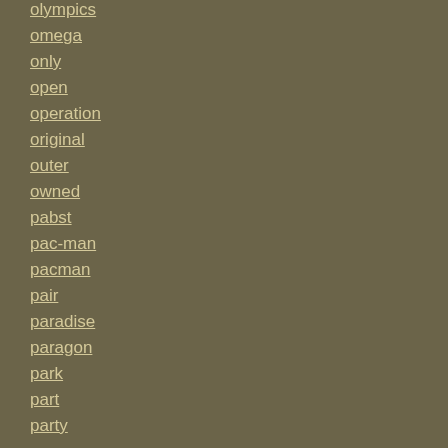olympics
omega
only
open
operation
original
outer
owned
pabst
pac-man
pacman
pair
paradise
paragon
park
part
party